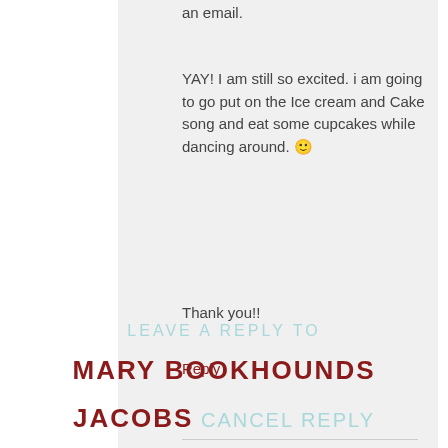an email.
YAY! I am still so excited. i am going to go put on the Ice cream and Cake song and eat some cupcakes while dancing around. 🙂
Thank you!!
Reply
LEAVE A REPLY TO
MARY BOOKHOUNDS JACOBS CANCEL REPLY